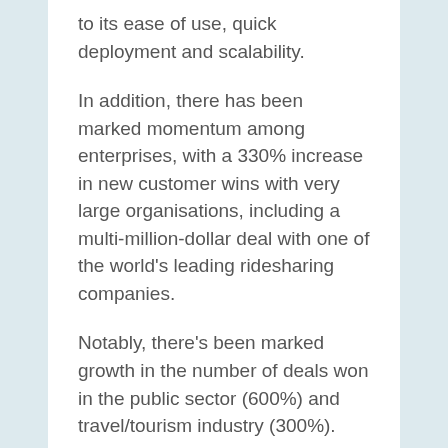to its ease of use, quick deployment and scalability.
In addition, there has been marked momentum among enterprises, with a 330% increase in new customer wins with very large organisations, including a multi-million-dollar deal with one of the world's leading ridesharing companies.
Notably, there's been marked growth in the number of deals won in the public sector (600%) and travel/tourism industry (300%).
PureCloud's global footprint has